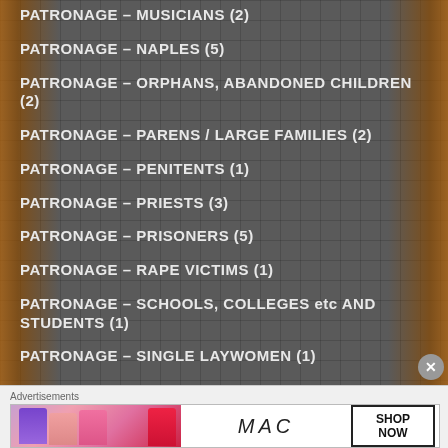PATRONAGE – MUSICIANS (2)
PATRONAGE – NAPLES (5)
PATRONAGE – ORPHANS, ABANDONED CHILDREN (2)
PATRONAGE – PARENS / LARGE FAMILIES (2)
PATRONAGE – PENITENTS (1)
PATRONAGE – PRIESTS (3)
PATRONAGE – PRISONERS (5)
PATRONAGE – RAPE VICTIMS (1)
PATRONAGE – SCHOOLS, COLLEGES etc AND STUDENTS (1)
PATRONAGE – SINGLE LAYWOMEN (1)
[Figure (other): Advertisement banner showing MAC cosmetics lipsticks with text SHOP NOW]
Advertisements